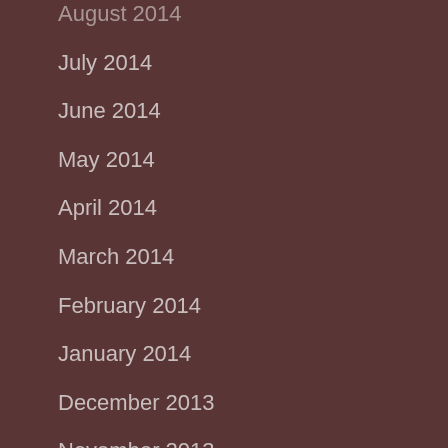August 2014
July 2014
June 2014
May 2014
April 2014
March 2014
February 2014
January 2014
December 2013
November 2013
October 2013